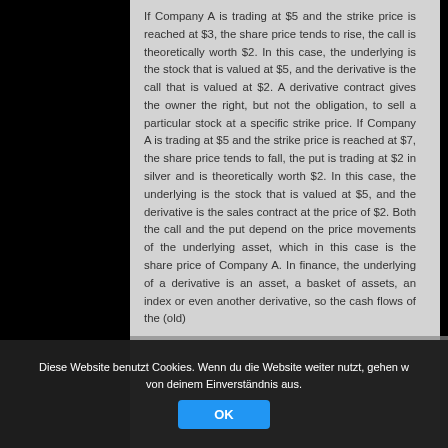If Company A is trading at $5 and the strike price is reached at $3, the share price tends to rise, the call is theoretically worth $2. In this case, the underlying is the stock that is valued at $5, and the derivative is the call that is valued at $2. A derivative contract gives the owner the right, but not the obligation, to sell a particular stock at a specific strike price. If Company A is trading at $5 and the strike price is reached at $7, the share price tends to fall, the put is trading at $2 in silver and is theoretically worth $2. In this case, the underlying is the stock that is valued at $5, and the derivative is the sales contract at the price of $2. Both the call and the put depend on the price movements of the underlying asset, which in this case is the share price of Company A. In finance, the underlying of a derivative is an asset, a basket of assets, an index or even another derivative, so the cash flows of the (old)
Diese Website benutzt Cookies. Wenn du die Website weiter nutzt, gehen wir von deinem Einverständnis aus.